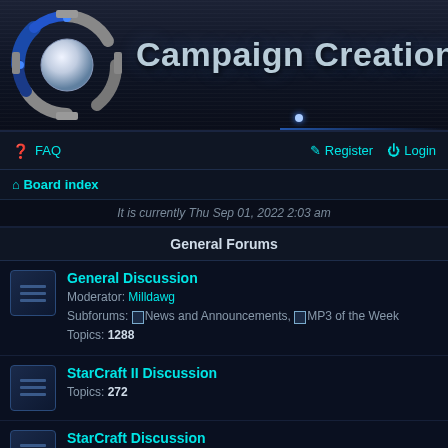[Figure (logo): Campaign Creations forum banner with blue mechanical logo on dark background with horizontal stripe texture]
FAQ  Register  Login
Board index
It is currently Thu Sep 01, 2022 2:03 am
General Forums
General Discussion
Moderator: Milldawg
Subforums: News and Announcements, MP3 of the Week
Topics: 1288
StarCraft II Discussion
Topics: 272
StarCraft Discussion
Topics: 667
WarCraft Discussion
Topics: 140